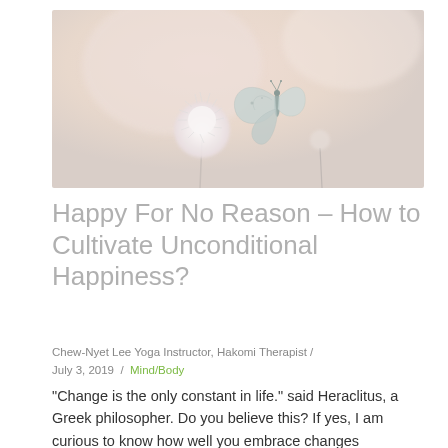[Figure (photo): A soft-focus photo of a small blue-grey butterfly perched on a white dandelion-like flower against a pale beige-pink background.]
Happy For No Reason – How to Cultivate Unconditional Happiness?
Chew-Nyet Lee Yoga Instructor, Hakomi Therapist / July 3, 2019 / Mind/Body
“Change is the only constant in life.” said Heraclitus, a Greek philosopher. Do you believe this? If yes, I am curious to know how well you embrace changes happening in your life, especially significant changes? If